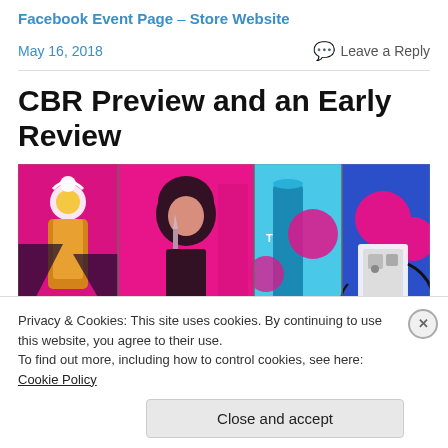Facebook Event Page – Store Website
May 16, 2018
Leave a Reply
CBR Preview and an Early Review
[Figure (illustration): Comic book cover art collage showing four panels: a figure with a halo on pink/magenta background, a character with an afro and blade on pink/black background, a cyan/blue panel with cylindrical shapes, and a magenta/blue robot-like figure.]
Privacy & Cookies: This site uses cookies. By continuing to use this website, you agree to their use.
To find out more, including how to control cookies, see here: Cookie Policy
Close and accept